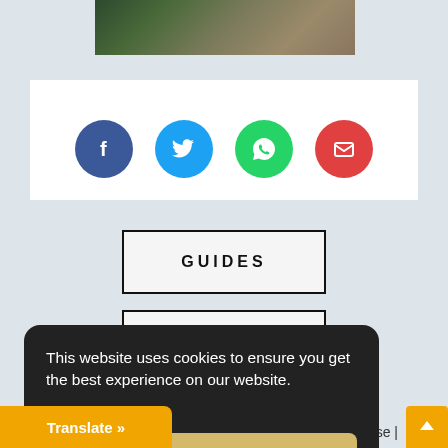[Figure (photo): Partial view of rocky landscape with green foliage at top of page]
[Figure (infographic): Row of four social sharing buttons: Facebook (dark blue circle), Twitter (light blue circle), WhatsApp (green circle), Email (red circle)]
GUIDES
ARTICLES
This website uses cookies to ensure you get the best experience on our website.
Learn more
Got it!
Translate »
Use |